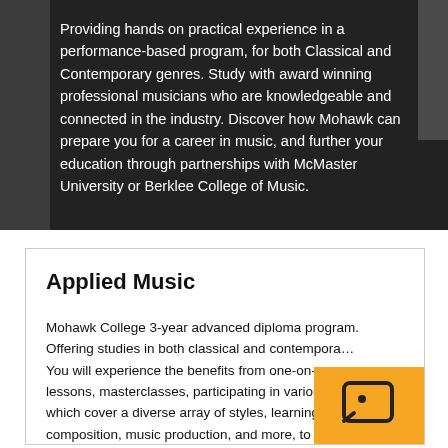Providing hands on practical experience in a performance-based program, for both Classical and Contemporary genres. Study with award winning professional musicians who are knowledgeable and connected in the industry. Discover how Mohawk can prepare you for a career in music, and further your education through partnerships with McMaster University or Berklee College of Music.
Applied Music
Mohawk College 3-year advanced diploma program. Offering studies in both classical and contemporary. You will experience the benefits from one-on-one lessons, masterclasses, participating in various e... which cover a diverse array of styles, learning theory, composition, music production, and more, to make